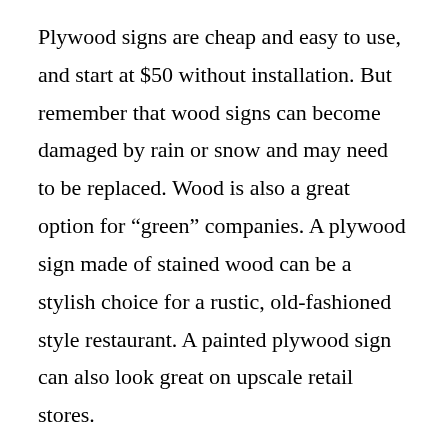Plywood signs are cheap and easy to use, and start at $50 without installation. But remember that wood signs can become damaged by rain or snow and may need to be replaced. Wood is also a great option for “green” companies. A plywood sign made of stained wood can be a stylish choice for a rustic, old-fashioned style restaurant. A painted plywood sign can also look great on upscale retail stores.
When considering the brightness of your sign,